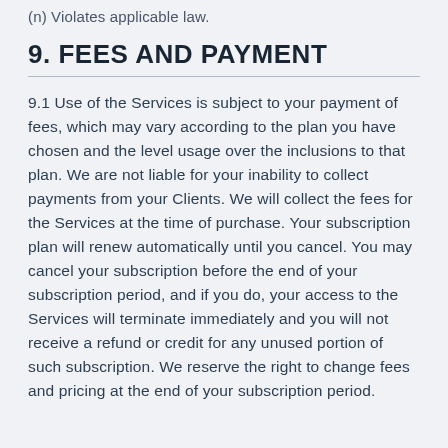(n) Violates applicable law.
9. FEES AND PAYMENT
9.1 Use of the Services is subject to your payment of fees, which may vary according to the plan you have chosen and the level usage over the inclusions to that plan. We are not liable for your inability to collect payments from your Clients. We will collect the fees for the Services at the time of purchase. Your subscription plan will renew automatically until you cancel. You may cancel your subscription before the end of your subscription period, and if you do, your access to the Services will terminate immediately and you will not receive a refund or credit for any unused portion of such subscription. We reserve the right to change fees and pricing at the end of your subscription period.